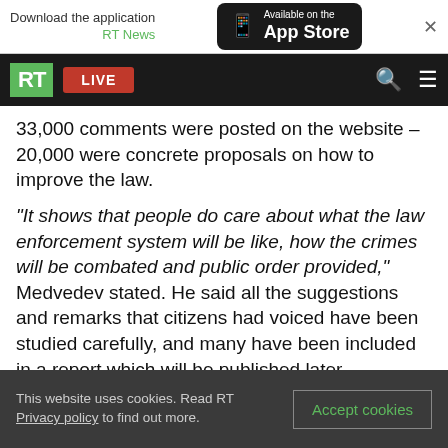[Figure (screenshot): App Store download banner with RT News logo and App Store button]
[Figure (screenshot): RT website navigation bar with green RT logo, red LIVE button, search and menu icons]
33,000 comments were posted on the website – 20,000 were concrete proposals on how to improve the law.
“It shows that people do care about what the law enforcement system will be like, how the crimes will be combated and public order provided,” Medvedev stated. He said all the suggestions and remarks that citizens had voiced have been studied carefully, and many have been included in a report which will be published later.
This website uses cookies. Read RT Privacy policy to find out more.